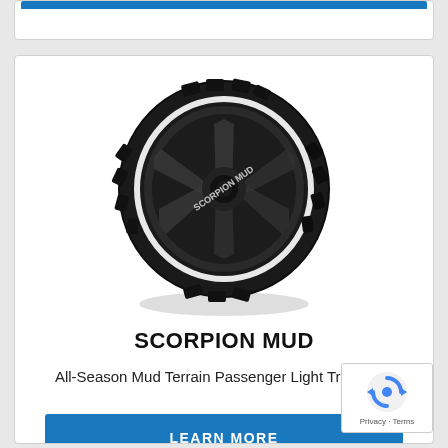[Figure (photo): Pirelli Scorpion Mud all-terrain tire with black wheel, mud terrain tread pattern, white lettering on sidewall]
SCORPION MUD
All-Season Mud Terrain Passenger Light Truck tire.
LEARN MORE